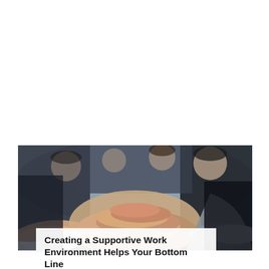RANDOM
[Figure (photo): Group of business professionals in suits stacking hands together in a team gesture, viewed from above and side angle.]
Creating a Supportive Work Environment Helps Your Bottom Line